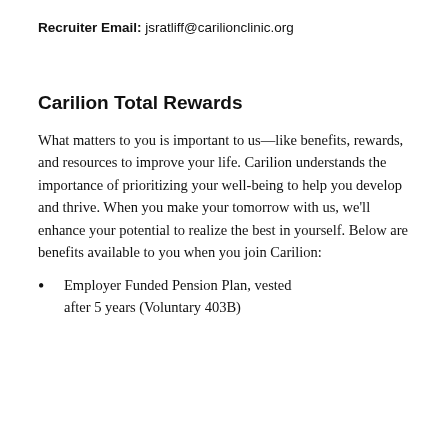Recruiter Email: jsratliff@carilionclinic.org
Carilion Total Rewards
What matters to you is important to us—like benefits, rewards, and resources to improve your life. Carilion understands the importance of prioritizing your well-being to help you develop and thrive. When you make your tomorrow with us, we'll enhance your potential to realize the best in yourself. Below are benefits available to you when you join Carilion:
Employer Funded Pension Plan, vested after 5 years (Voluntary 403B)